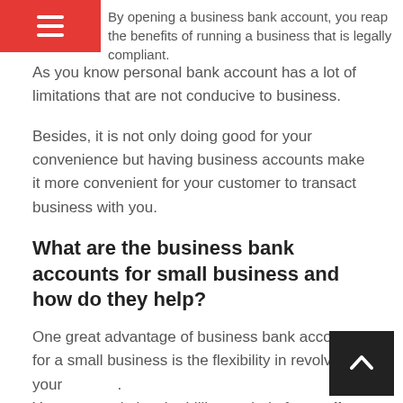By opening a business bank account, you reap the benefits of running a business that is legally compliant.
As you know personal bank account has a lot of limitations that are not conducive to business.
Besides, it is not only doing good for your convenience but having business accounts make it more convenient for your customer to transact business with you.
What are the business bank accounts for small business and how do they help?
One great advantage of business bank accounts for a small business is the flexibility in revolving your [credit]. You can maximize the billing period of a credit card account by using it on purchasing your product and pay on